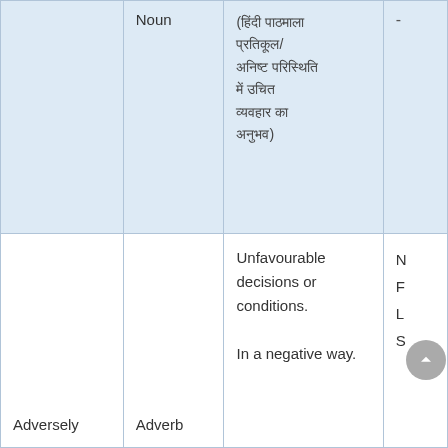|  | Noun | (Hindi text) | - |
| --- | --- | --- | --- |
|  | Noun | (हिंदी पाठ - प्रतिकूल/ अनिष्ट परिस्थिति में उचित व्यवहार का अनुभव) | - |
| Adversely | Adverb | Unfavourable decisions or conditions.

In a negative way. |  |